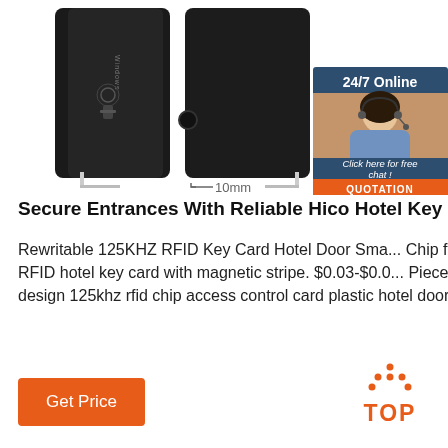[Figure (photo): Product photo of black hotel key cards, one showing Windows logo and RFID icon, another plain black card, with 10mm dimension indicator. Overlaid with a 24/7 Online chat widget showing a female customer service representative, a 'Click here for free chat!' prompt, and an orange QUOTATION button.]
Secure Entrances With Reliable Hico Hotel Key Car...
Rewritable 125KHZ RFID Key Card Hotel Door Sma... Chip for Hotel Lcok. $0.10-$0.15 ... Best Selling Hig... RFID hotel key card with magnetic stripe. $0.03-$0.0... Pieces (Min. Order) CN Shenzhen Zhengdafei ... Fr... design 125khz rfid chip access control card plastic hotel door key card. $0.10-$0.50 ...
[Figure (other): Orange 'Get Price' button]
[Figure (other): Orange TOP back-to-top badge with dots above]